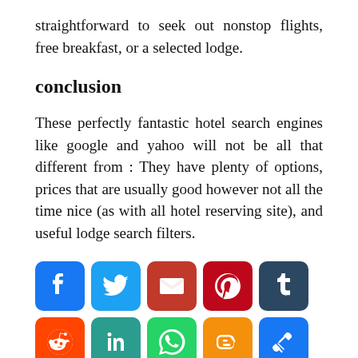straightforward to seek out nonstop flights, free breakfast, or a selected lodge.
conclusion
These perfectly fantastic hotel search engines like google and yahoo will not be all that different from : They have plenty of options, prices that are usually good however not all the time nice (as with all hotel reserving site), and useful lodge search filters.
[Figure (infographic): Row of social media sharing icon buttons: Facebook (blue), Twitter (blue), Email (red), Pinterest (dark red), Tumblr (dark blue), Reddit (orange), LinkedIn (teal), WhatsApp (green), Blogger (orange), Copy Link (blue), and a More/Share plus button (blue).]